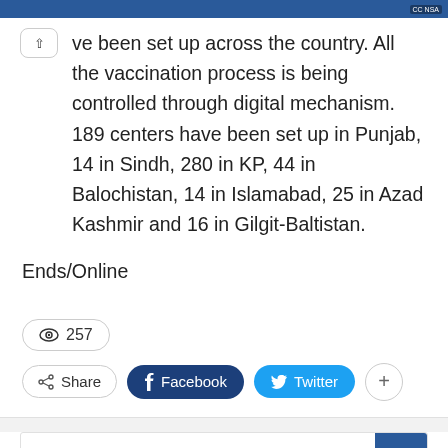[Figure (screenshot): Top blue bar with CC badge overlay]
ve been set up across the country. All the vaccination process is being controlled through digital mechanism. 189 centers have been set up in Punjab, 14 in Sindh, 280 in KP, 44 in Balochistan, 14 in Islamabad, 25 in Azad Kashmir and 16 in Gilgit-Baltistan.
Ends/Online
257
Share  Facebook  Twitter  +
Onlinenews